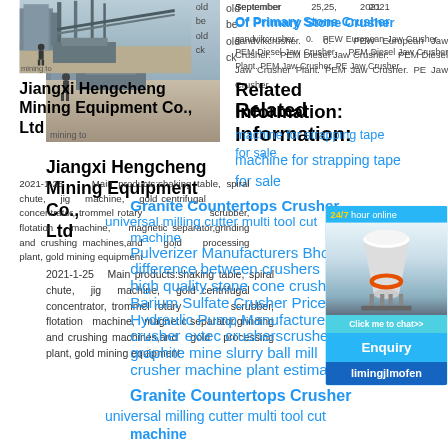[Figure (photo): Mining equipment site photo showing industrial machinery and a worker in an outdoor setting]
mining to
Jiangxi Hengcheng Mining Equipment Co., Ltd
2021-1-25  Main products:shaking table, spiral chute, jig machine, gold centrifugal concentrator, trommel rotary scrubber, flotation machine, magnetic separator,grinding and crushing machines,and gold processing plant, gold mining equipment
September 25, 2021
Of Primary Stone Crusher
sandvikcrusher. 0. PEW European Jaw Crusher. PEM Diesel Jaw Crusher. PEM Diesel Jaw Crusher Plant. PEM Jaw Crusher. PE Jaw Crusher.
Related Information:
machine for strapping tape for sale
Granite Countertops Crusher
universal milling cutter multi tool cut machine
Pulverizer Manufacturers Bhopal
difference between crushers
high quality stone cone crusher
Barium Sulfate Crusher Price
Hydraulic Pump Manufacturers In U
crusher extec crusherscrusher exte
graphite mine slurry ball mill
crusher machine plant estimation co
[Figure (screenshot): 24/7 hour online chat widget with cone crusher image, Click me to chat>> button, Enquiry section, and limingjlmofen text]